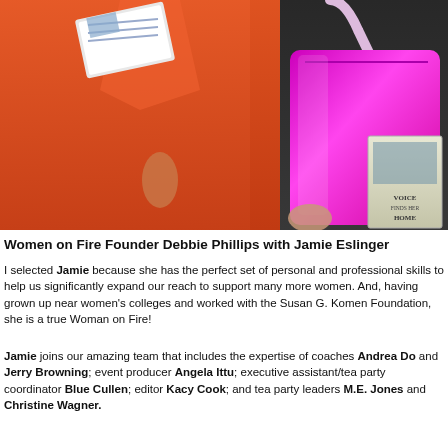[Figure (photo): Two women standing together: one wearing an orange/coral suit jacket and skirt holding a card or booklet, and another in dark clothing carrying a large magenta/pink tote bag. A book is visible in the lower right corner of the image.]
Women on Fire Founder Debbie Phillips with Jamie Eslinger
I selected Jamie because she has the perfect set of personal and professional skills to help us significantly expand our reach to support many more women. And, having grown up near women's colleges and worked with the Susan G. Komen Foundation, she is a true Woman on Fire!
Jamie joins our amazing team that includes the expertise of coaches Andrea Do and Jerry Browning; event producer Angela Ittu; executive assistant/tea party coordinator Blue Cullen; editor Kacy Cook; and tea party leaders M.E. Jones and Christine Wagner.